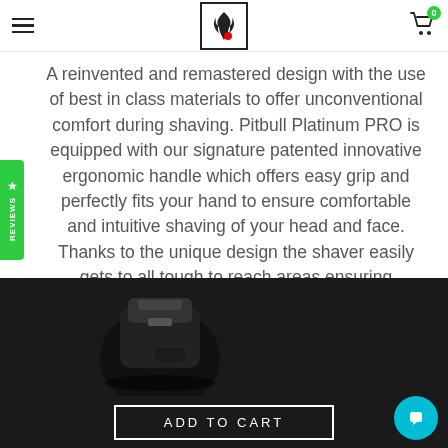Header with hamburger menu, logo, and cart icon
A reinvented and remastered design with the use of best in class materials to offer unconventional comfort during shaving. Pitbull Platinum PRO is equipped with our signature patented innovative ergonomic handle which offers easy grip and perfectly fits your hand to ensure comfortable and intuitive shaving of your head and face. Thanks to the unique design the shaver easily gets to all tough to reach areas ensuring impeccable results.
[Figure (photo): Partial view of a black electric shaver (Pitbull Platinum PRO) against a dark background]
ADD TO CART